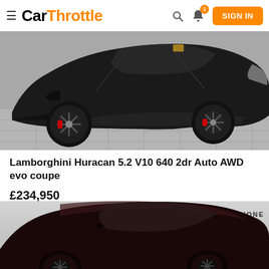CarThrottle — SIGN IN
[Figure (photo): Front three-quarter view of a matte black Lamborghini Huracan Evo coupe on a stone tile surface.]
Lamborghini Huracan 5.2 V10 640 2dr Auto AWD evo coupe
£234,950
[Figure (photo): Dark purple/black Lamborghini Huracan coupe in a showroom with Lamborghini Selezione logo in the background.]